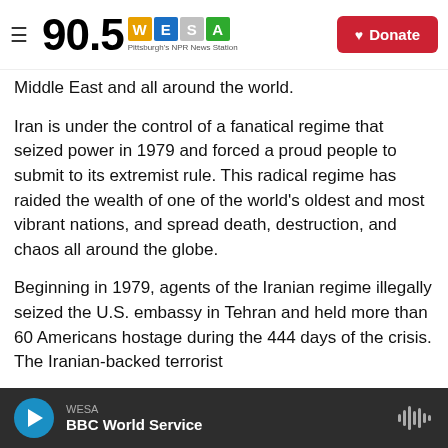90.5 WESA Pittsburgh's NPR News Station | Donate
Middle East and all around the world.
Iran is under the control of a fanatical regime that seized power in 1979 and forced a proud people to submit to its extremist rule. This radical regime has raided the wealth of one of the world's oldest and most vibrant nations, and spread death, destruction, and chaos all around the globe.
Beginning in 1979, agents of the Iranian regime illegally seized the U.S. embassy in Tehran and held more than 60 Americans hostage during the 444 days of the crisis. The Iranian-backed terrorist
WESA | BBC World Service